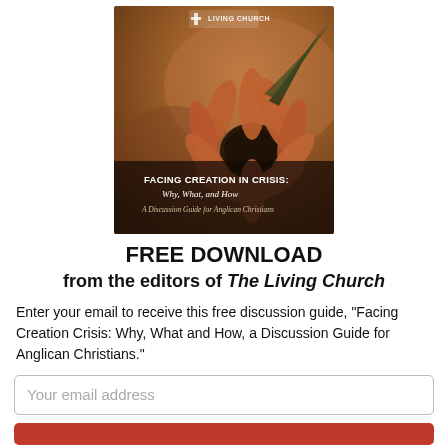[Figure (illustration): Book cover for 'Facing Creation in Crisis: Why, What, and How — A Discussion Guide for Anglican Christians' published by Living Church. Cover features a close-up photo of a dried/wilted sunflower with warm brownish-orange tones. The Living Church logo appears at the top. Bold white text at the bottom reads 'FACING CREATION IN CRISIS: Why, What, and How' with subtitle 'A Discussion Guide for Anglican Christians'.]
FREE DOWNLOAD
from the editors of The Living Church
Enter your email to receive this free discussion guide, "Facing Creation Crisis: Why, What and How, a Discussion Guide for Anglican Christians."
Your email address